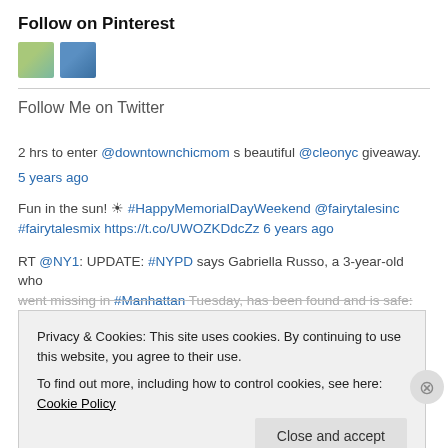Follow on Pinterest
[Figure (illustration): Two small Pinterest board thumbnail images side by side]
Follow Me on Twitter
2 hrs to enter @downtownchicmom s beautiful @cleonyc giveaway.
5 years ago
Fun in the sun! ☀ #HappyMemorialDayWeekend @fairytalesinc #fairytalesmix https://t.co/UWOZKDdcZz 6 years ago
RT @NY1: UPDATE: #NYPD says Gabriella Russo, a 3-year-old who went missing in #Manhattan Tuesday, has been found and is safe:
Privacy & Cookies: This site uses cookies. By continuing to use this website, you agree to their use.
To find out more, including how to control cookies, see here: Cookie Policy
Close and accept